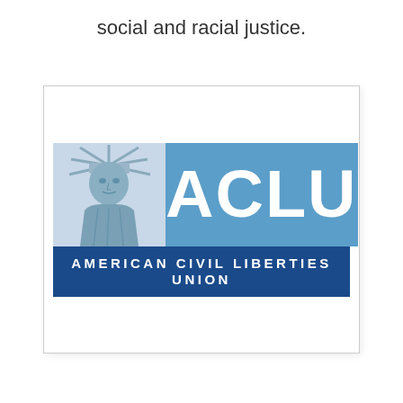social and racial justice.
[Figure (logo): ACLU (American Civil Liberties Union) logo featuring the Statue of Liberty on the left and 'ACLU' text in large white letters on a blue background, with 'AMERICAN CIVIL LIBERTIES UNION' in white on a dark navy blue banner below.]